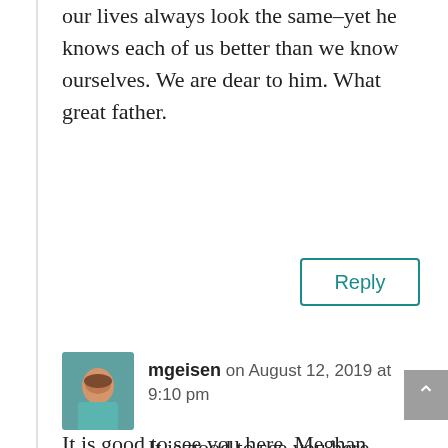our lives always look the same–yet he knows each of us better than we know ourselves. We are dear to him. What great father.
Reply
mgeisen on August 12, 2019 at 9:10 pm
It is good to see you here, Meghan. God writes the best stories and His patience is what keeps me coming back for more. We can learn so much from each other because while our stories may be similar how we got to where we are is not the same. I pray you see the Father in all the details